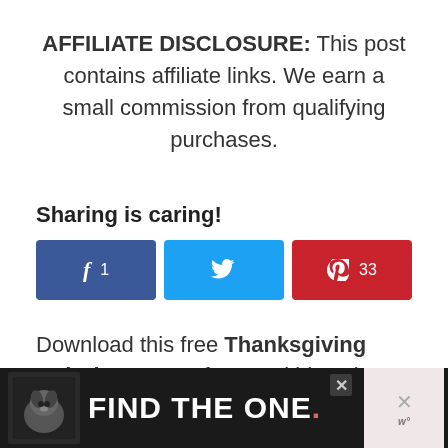AFFILIATE DISCLOSURE: This post contains affiliate links. We earn a small commission from qualifying purchases.
Sharing is caring!
[Figure (other): Social share buttons: Facebook (1), Twitter, Pinterest (33)]
Download this free Thanksgiving Coloring Pages for your kids to keep
[Figure (other): Advertisement banner: dog photo with text FIND THE ONE. with a close button and additional branding on the right]